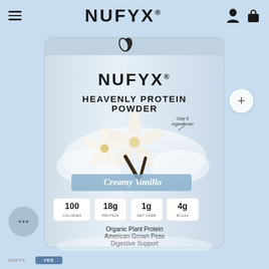NUFYX®
[Figure (photo): NUFYX Heavenly Protein Powder product packet in Creamy Vanilla flavor. The light blue packet shows: brand name NUFYX, product name HEAVENLY PROTEIN POWDER, an image of vanilla flowers, the flavor name 'Creamy Vanilla', nutritional highlights (100 Calories, 18g Protein, 1g Net Carb, 4g BCAAs), product claims (Organic Plant Protein, American Grown Peas, Digestive Support), certification badges (USDA Organic, Vegan, Gluten Free, Keto, USA Grown), and NET WT. 0.9 OZ (26g).]